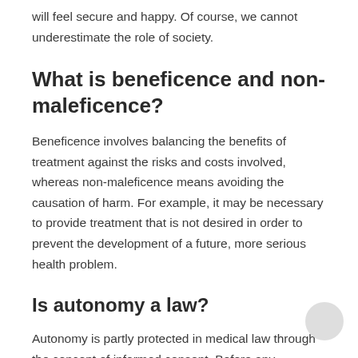will feel secure and happy. Of course, we cannot underestimate the role of society.
What is beneficence and non-maleficence?
Beneficence involves balancing the benefits of treatment against the risks and costs involved, whereas non-maleficence means avoiding the causation of harm. For example, it may be necessary to provide treatment that is not desired in order to prevent the development of a future, more serious health problem.
Is autonomy a law?
Autonomy is partly protected in medical law through the concept of informed consent. Before any treatment